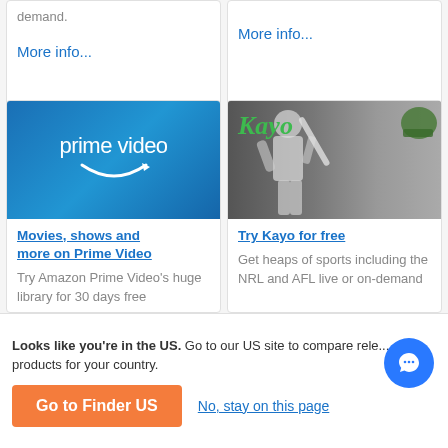demand.
More info...
More info...
[Figure (logo): Amazon Prime Video logo — blue gradient background with white 'prime video' text and Amazon smile arrow]
[Figure (photo): Kayo Sports — black and white photo of cricket batsman with green 'Kayo' logo text overlay]
Movies, shows and more on Prime Video
Try Amazon Prime Video's huge library for 30 days free
Try Kayo for free
Get heaps of sports including the NRL and AFL live or on-demand
Looks like you're in the US. Go to our US site to compare relevant products for your country.
Go to Finder US
No, stay on this page